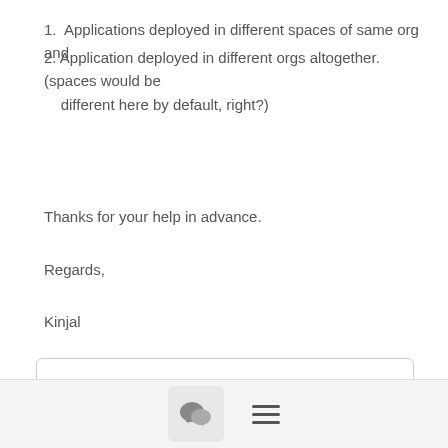1.  Applications deployed in different spaces of same org and
2. Application deployed in different orgs altogether. (spaces would be
    different here by default, right?)
Thanks for your help in advance.
Regards,
Kinjal
[Figure (other): File attachment icon (blue document with question mark) and link labeled attachment.html]
Chat icon button and hamburger menu icon